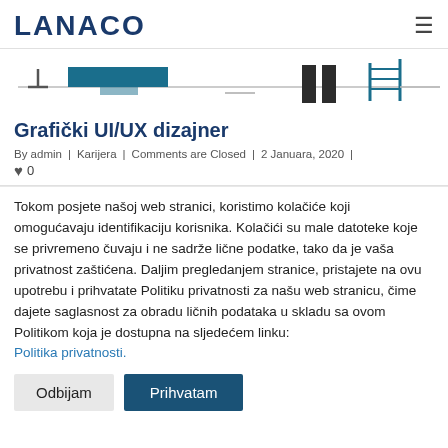LANACO
[Figure (illustration): Abstract horizontal line graphic with teal/dark blue rectangular blocks and a ladder shape, representing a UI/UX or tech concept banner.]
Grafički UI/UX dizajner
By admin | Karijera | Comments are Closed | 2 Januara, 2020 | ♥ 0
Tokom posjete našoj web stranici, koristimo kolačiće koji omogućavaju identifikaciju korisnika. Kolačići su male datoteke koje se privremeno čuvaju i ne sadrže lične podatke, tako da je vaša privatnost zaštićena. Daljim pregledanjem stranice, pristajete na ovu upotrebu i prihvatate Politiku privatnosti za našu web stranicu, čime dajete saglasnost za obradu ličnih podataka u skladu sa ovom Politikom koja je dostupna na sljedećem linku: Politika privatnosti.
Odbijam | Prihvatam